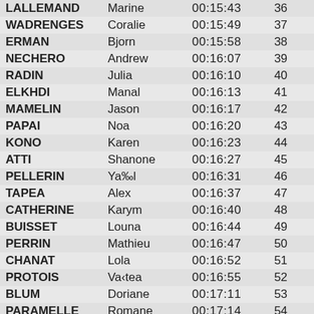| LALLEMAND | Marine | 00:15:43 | 36 |
| WADRENGES | Coralie | 00:15:49 | 37 |
| ERMAN | Bjorn | 00:15:58 | 38 |
| NECHERO | Andrew | 00:16:07 | 39 |
| RADIN | Julia | 00:16:10 | 40 |
| ELKHDI | Manal | 00:16:13 | 41 |
| MAMELIN | Jason | 00:16:17 | 42 |
| PAPAI | Noa | 00:16:20 | 43 |
| KONO | Karen | 00:16:23 | 44 |
| ATTI | Shanone | 00:16:27 | 45 |
| PELLERIN | Ya‰l | 00:16:31 | 46 |
| TAPEA | Alex | 00:16:37 | 47 |
| CATHERINE | Karym | 00:16:40 | 48 |
| BUISSET | Louna | 00:16:44 | 49 |
| PERRIN | Mathieu | 00:16:47 | 50 |
| CHANAT | Lola | 00:16:52 | 51 |
| PROTOIS | Va‹tea | 00:16:55 | 52 |
| BLUM | Doriane | 00:17:11 | 53 |
| PARAMELLE | Romane | 00:17:14 | 54 |
| CARNAC | Enora | 00:17:28 | 55 |
| WENDT | Naomie | 00:17:44 | 56 |
| NATIVELLE | Chlo, | 00:17:46 | 57 |
| LEMPLE | Manon | 00:17:51 | 58 |